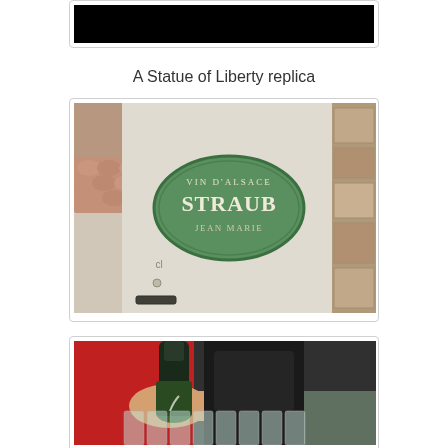[Figure (photo): Top portion of an image, appears mostly black/dark — likely a night or dark scene, partially cropped at top of page]
A Statue of Liberty replica
[Figure (photo): Photograph of a green oval sign reading 'VIN D'ALSACE STRAUB JEAN MARIE' mounted on a white stone wall with red brick/tile elements on the side]
[Figure (photo): Photograph of a person in red pouring wine from a bottle into a row of glasses]